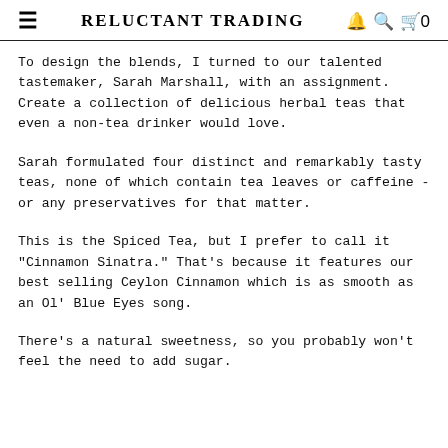RELUCTANT TRADING
To design the blends, I turned to our talented tastemaker, Sarah Marshall, with an assignment. Create a collection of delicious herbal teas that even a non-tea drinker would love.
Sarah formulated four distinct and remarkably tasty teas, none of which contain tea leaves or caffeine - or any preservatives for that matter.
This is the Spiced Tea, but I prefer to call it "Cinnamon Sinatra." That's because it features our best selling Ceylon Cinnamon which is as smooth as an Ol' Blue Eyes song.
There's a natural sweetness, so you probably won't feel the need to add sugar.